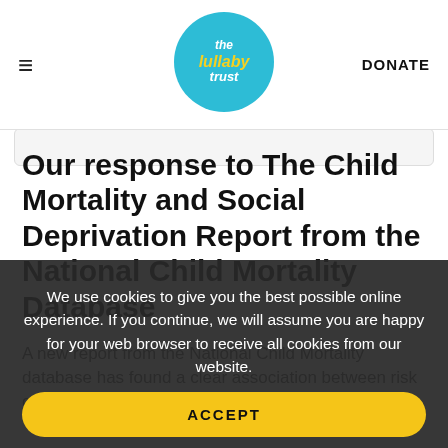≡  the lullaby trust  DONATE
Our response to The Child Mortality and Social Deprivation Report from the National Child Mortality Database
A new report from the National Child Mortality database has found a clear association between risk of
We use cookies to give you the best possible online experience. If you continue, we will assume you are happy for your web browser to receive all cookies from our website.
ACCEPT